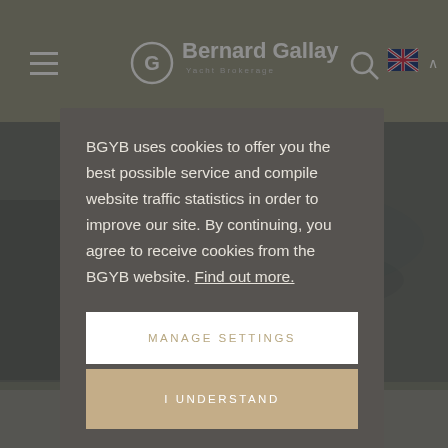[Figure (screenshot): Website header with Bernard Gallay Yacht Brokerage logo, hamburger menu, search icon, and UK flag language selector on an olive-gray background]
BGYB uses cookies to offer you the best possible service and compile website traffic statistics in order to improve our site. By continuing, you agree to receive cookies from the BGYB website. Find out more.
MANAGE SETTINGS
I UNDERSTAND
NO